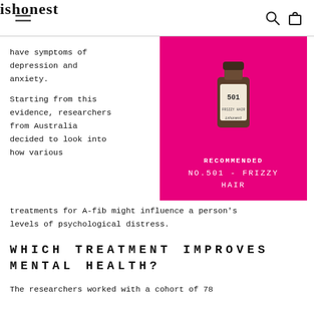ishonest
have symptoms of depression and anxiety.
[Figure (photo): ishonest No.501 hair product bottle on a bright pink/magenta background with RECOMMENDED label and NO.501 - FRIZZY HAIR text]
Starting from this evidence, researchers from Australia decided to look into how various treatments for A-fib might influence a person's levels of psychological distress.
WHICH TREATMENT IMPROVES MENTAL HEALTH?
The researchers worked with a cohort of 78